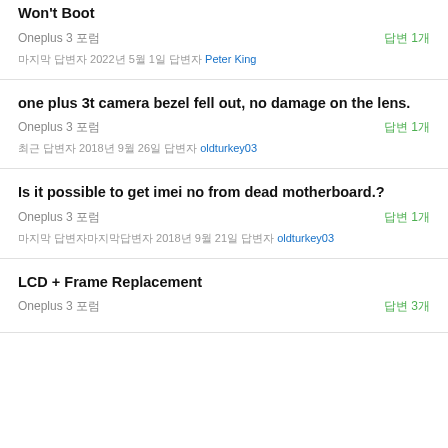Won't Boot
Oneplus 3 포럼   답변 1개
마지막 답변자 2022년 5월 1일 답변자 Peter King
one plus 3t camera bezel fell out, no damage on the lens.
Oneplus 3 포럼   답변 1개
최근 답변자 2018년 9월 26일 답변자 oldturkey03
Is it possible to get imei no from dead motherboard.?
Oneplus 3 포럼   답변 1개
마지막 답변자마지막답변자 2018년 9월 21일 답변자 oldturkey03
LCD + Frame Replacement
Oneplus 3 포럼   답변 3개